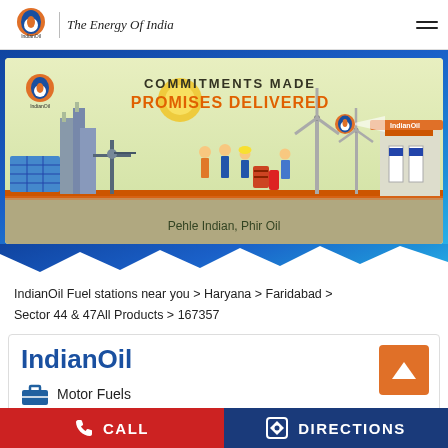IndianOil | The Energy Of India
[Figure (illustration): IndianOil promotional banner with text 'COMMITMENTS MADE PROMISES DELIVERED' and 'Pehle Indian, Phir Oil', showing industrial and energy scenes including oil workers, wind turbines, solar panels, oil pump, and a fuel station.]
IndianOil Fuel stations near you > Haryana > Faridabad > Sector 44 & 47All Products > 167357
IndianOil
Motor Fuels
CALL
DIRECTIONS